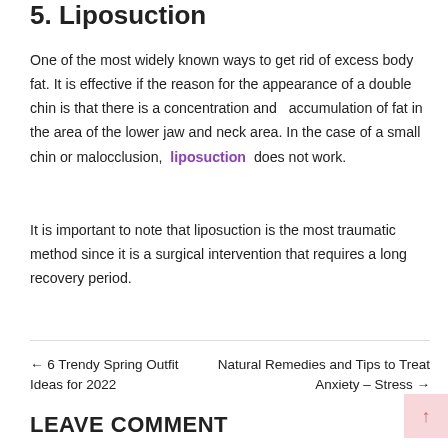5. Liposuction
One of the most widely known ways to get rid of excess body fat. It is effective if the reason for the appearance of a double chin is that there is a concentration and  accumulation of fat in the area of the lower jaw and neck area. In the case of a small chin or malocclusion,  liposuction  does not work.
It is important to note that liposuction is the most traumatic method since it is a surgical intervention that requires a long recovery period.
← 6 Trendy Spring Outfit Ideas for 2022
Natural Remedies and Tips to Treat Anxiety – Stress →
LEAVE COMMENT